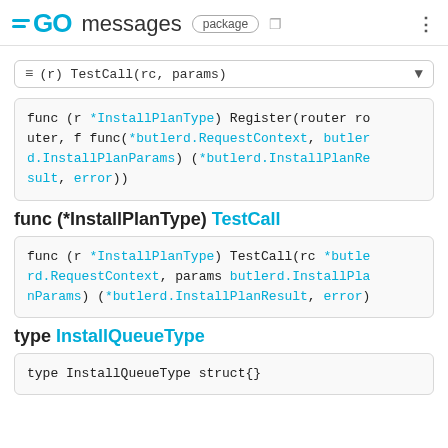GO messages package
≡ (r) TestCall(rc, params)
func (r *InstallPlanType) Register(router router, f func(*butlerd.RequestContext, butlerd.InstallPlanParams) (*butlerd.InstallPlanResult, error))
func (*InstallPlanType) TestCall
func (r *InstallPlanType) TestCall(rc *butlerd.RequestContext, params butlerd.InstallPlanParams) (*butlerd.InstallPlanResult, error)
type InstallQueueType
type InstallQueueType struct{}